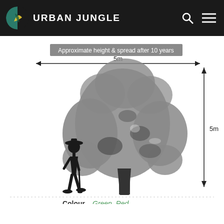URBAN JUNGLE
[Figure (infographic): Infographic showing approximate height and spread of a tree after 10 years. A large tree silhouette is shown with a human figure for scale. Horizontal arrow spans 5m width, vertical arrow spans 5m height. Label reads: Approximate height & spread after 10 years.]
Approximate height & spread after 10 years
Colour   Green, Red,